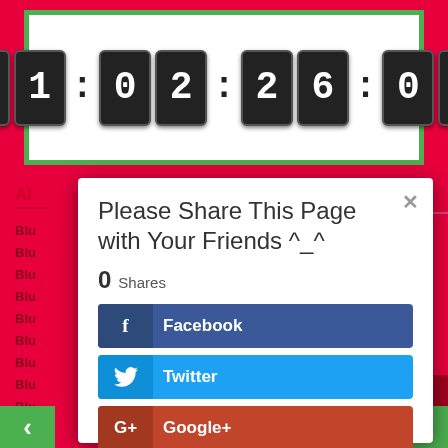[Figure (screenshot): Countdown timer display showing 01:02:26:07 in dark digit blocks on white background with green border]
[Figure (screenshot): Share modal dialog with title 'Please Share This Page with Your Friends ^_^', showing 0 Shares, and social share buttons for Facebook, Twitter, Google+, and a more options button. Background shows red page with truncated list items.]
Please Share This Page with Your Friends ^_^
0 Shares
Facebook
Twitter
Google+